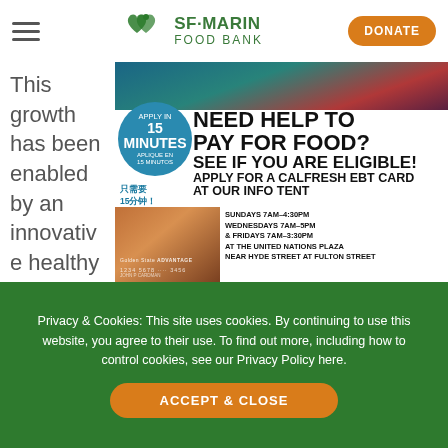SF-MARIN FOOD BANK
This growth has been enabled by an innovative healthy
[Figure (infographic): SF-Marin Food Bank flyer: 'NEED HELP TO PAY FOR FOOD? SEE IF YOU ARE ELIGIBLE! APPLY FOR A CALFRESH EBT CARD AT OUR INFO TENT. SUNDAYS 7AM-4:30PM, WEDNESDAYS 7AM-5PM & FRIDAYS 7AM-3:30PM AT THE UNITED NATIONS PLAZA NEAR HYDE STREET AT FULTON STREET. APPLY IN 15 MINUTES / APLIQUE EN 15 MINUTOS / 只需要15分钟!']
Privacy & Cookies: This site uses cookies. By continuing to use this website, you agree to their use. To find out more, including how to control cookies, see our Privacy Policy here.